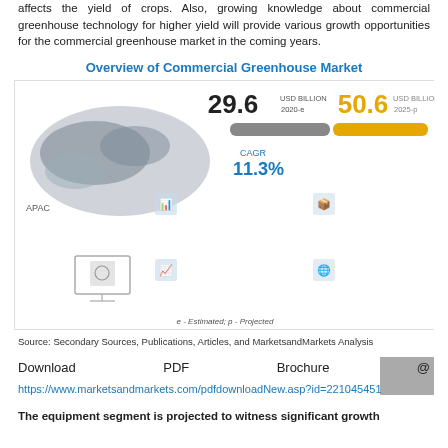affects the yield of crops. Also, growing knowledge about commercial greenhouse technology for higher yield will provide various growth opportunities for the commercial greenhouse market in the coming years.
Overview of Commercial Greenhouse Market
[Figure (infographic): Infographic showing overview of Commercial Greenhouse Market. Shows 29.6 USD Billion (2020-e) and 50.6 USD Billion (2025-p) with CAGR 11.3%. Includes a world map highlighting APAC, bar indicators, and bullet points about market growth drivers. Notes: market growth in APAC attributed to growing knowledge about sustainable farming; growth driven by rising demand for food due to growing population and climate change; expected to grow at a high rate in countries like China and US; new product launches and acquisitions offer lucrative opportunities; growing knowledge about commercial greenhouse technology for higher yield. Footer: e - Estimated; p - Projected]
Source: Secondary Sources, Publications, Articles, and MarketsandMarkets Analysis
Download   PDF   Brochure   @
https://www.marketsandmarkets.com/pdfdownloadNew.asp?id=221045451
The equipment segment is projected to witness significant growth